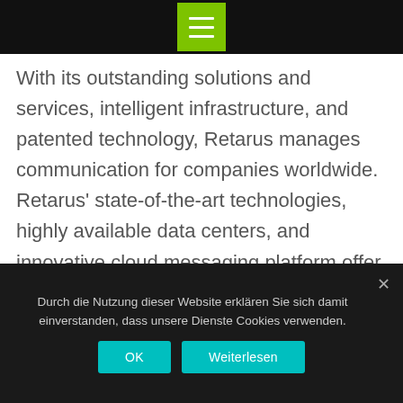[Figure (other): Green hamburger menu button in top black navigation bar]
With its outstanding solutions and services, intelligent infrastructure, and patented technology, Retarus manages communication for companies worldwide. Retarus' state-of-the-art technologies, highly available data centers, and innovative cloud messaging platform offer maximum security, maximum performance, and business continuity. With experience in steering information flows at the enterprise level, Retarus ensures that information is transferred securely and reliably to the right place, at the right time, in the right format—since 1992 and with now 15
Durch die Nutzung dieser Website erklären Sie sich damit einverstanden, dass unsere Dienste Cookies verwenden.